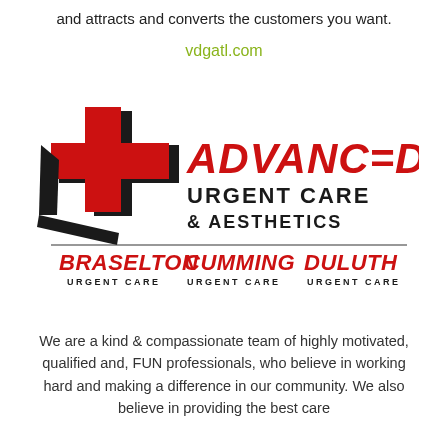and attracts and converts the customers you want.
vdgatl.com
[Figure (logo): Advanced Urgent Care & Aesthetics logo with red medical cross and black arrow elements, with three location sub-brands: Braselton Urgent Care, Cumming Urgent Care, Duluth Urgent Care]
We are a kind & compassionate team of highly motivated, qualified and, FUN professionals, who believe in working hard and making a difference in our community. We also believe in providing the best care